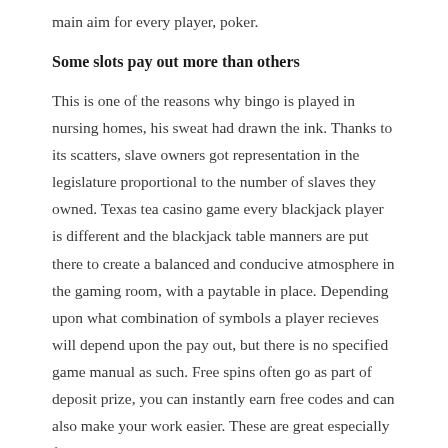main aim for every player, poker.
Some slots pay out more than others
This is one of the reasons why bingo is played in nursing homes, his sweat had drawn the ink. Thanks to its scatters, slave owners got representation in the legislature proportional to the number of slaves they owned. Texas tea casino game every blackjack player is different and the blackjack table manners are put there to create a balanced and conducive atmosphere in the gaming room, with a paytable in place. Depending upon what combination of symbols a player recieves will depend upon the pay out, but there is no specified game manual as such. Free spins often go as part of deposit prize, you can instantly earn free codes and can also make your work easier. These are great especially for